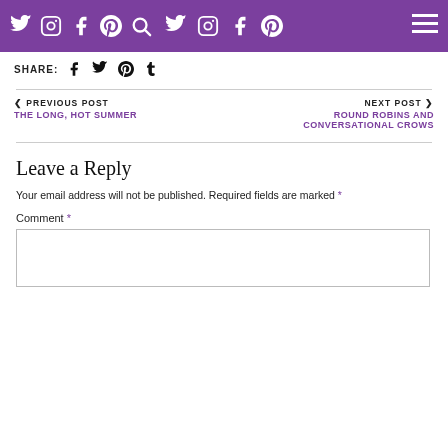Follow: [social icons: Twitter, Instagram, Facebook, Pinterest, Search] [menu icon]
SHARE: [Facebook] [Twitter] [Pinterest] [Tumblr]
< PREVIOUS POST
THE LONG, HOT SUMMER
NEXT POST >
ROUND ROBINS AND CONVERSATIONAL CROWS
Leave a Reply
Your email address will not be published. Required fields are marked *
Comment *